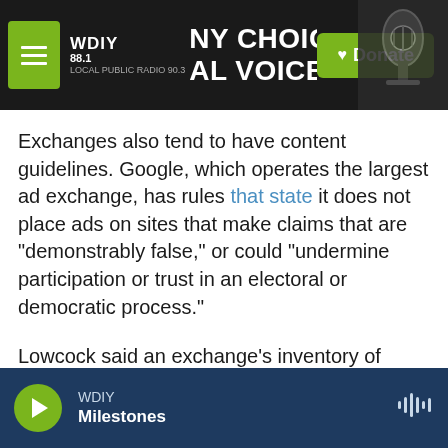WDIY 88.1 | NY CHOICES. LOCAL VOICES. | Donate
Exchanges also tend to have content guidelines. Google, which operates the largest ad exchange, has rules that state it does not place ads on sites that make claims that are "demonstrably false," or could "undermine participation or trust in an electoral or democratic process."
Lowcock said an exchange's inventory of websites is so vast and always growing that enforcing its rules is sometimes impossible.
"Often what we find is that when an exchange
WDIY | Milestones